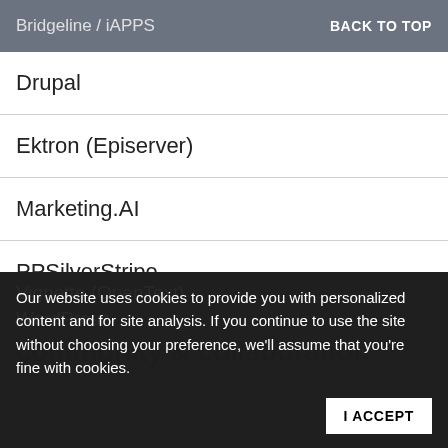Bridgeline / iAPPS   BACK TO TOP
Drupal
Ektron (Episerver)
Marketing.AI
PPSilverStripe
TextPattern
Vignette (OpenText)
WordPress
community & collaboration
Our website uses cookies to provide you with personalized content and for site analysis. If you continue to use the site without choosing your preference, we'll assume that you're fine with cookies.